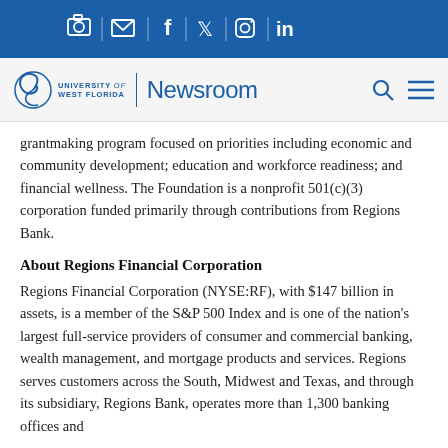[Social media icons: camera, email, facebook, twitter, instagram, linkedin]
University of West Florida | Newsroom
grantmaking program focused on priorities including economic and community development; education and workforce readiness; and financial wellness. The Foundation is a nonprofit 501(c)(3) corporation funded primarily through contributions from Regions Bank.
About Regions Financial Corporation
Regions Financial Corporation (NYSE:RF), with $147 billion in assets, is a member of the S&P 500 Index and is one of the nation's largest full-service providers of consumer and commercial banking, wealth management, and mortgage products and services. Regions serves customers across the South, Midwest and Texas, and through its subsidiary, Regions Bank, operates more than 1,300 banking offices and